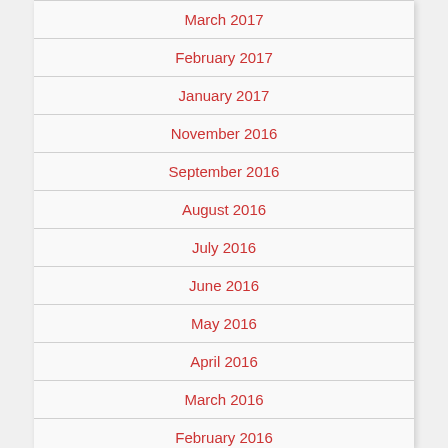March 2017
February 2017
January 2017
November 2016
September 2016
August 2016
July 2016
June 2016
May 2016
April 2016
March 2016
February 2016